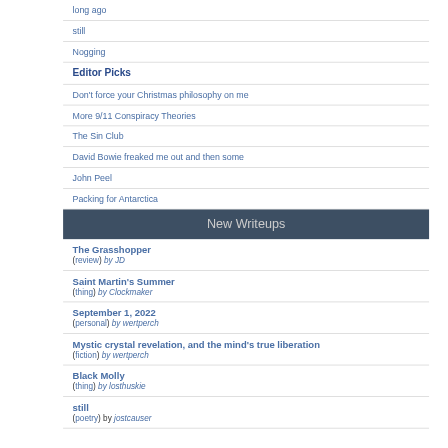long ago
still
Nogging
Editor Picks
Don't force your Christmas philosophy on me
More 9/11 Conspiracy Theories
The Sin Club
David Bowie freaked me out and then some
John Peel
Packing for Antarctica
New Writeups
The Grasshopper (review) by JD
Saint Martin's Summer (thing) by Clockmaker
September 1, 2022 (personal) by wertperch
Mystic crystal revelation, and the mind's true liberation (fiction) by wertperch
Black Molly (thing) by losthuskie
still (poetry) by jostcauser